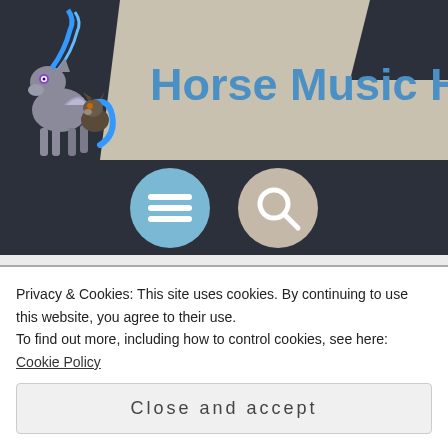[Figure (logo): Horse Music Herald website header with cartoon pony logo on left and site title in blue text on parallelogram background]
Horse Music Herald
[Figure (infographic): Navigation bar with two circular buttons: a blue menu (hamburger) button and a beige search (magnifier) button]
Indie Dance
[Figure (illustration): Partial circular avatar/icon peeking from bottom of content area, grey colored]
Privacy & Cookies: This site uses cookies. By continuing to use this website, you agree to their use.
To find out more, including how to control cookies, see here: Cookie Policy
Close and accept